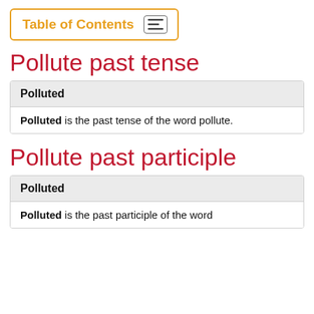Table of Contents
Pollute past tense
| Polluted |
| --- |
| Polluted is the past tense of the word pollute. |
Pollute past participle
| Polluted |
| --- |
| Polluted is the past participle of the word |